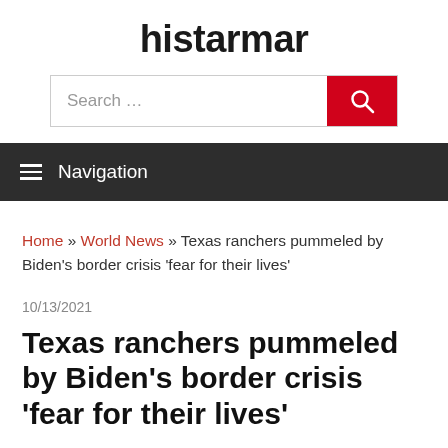histarmar
[Figure (other): Search bar with text input showing 'Search ...' and a red search button with magnifying glass icon]
Navigation
Home » World News » Texas ranchers pummeled by Biden's border crisis 'fear for their lives'
10/13/2021
Texas ranchers pummeled by Biden's border crisis 'fear for their lives'